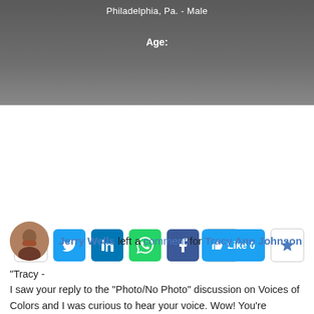Philadelphia, Pa.  - Male
Age:
[Figure (infographic): Social sharing buttons row: Messenger, Twitter, LinkedIn, WhatsApp, Facebook, plus button, Like 0 button, star button]
Activity Feed
About
Jerry Wells left a comment for Tracy Ann Johnson
"Tracy -
I saw your reply to the "Photo/No Photo" discussion on Voices of Colors and I was curious to hear your voice. Wow! You're GREAT! Love the voice, dialects, characters; the whole thing. I aspire to the same versatility one day. Best wishes!"
Aug 26, 2010